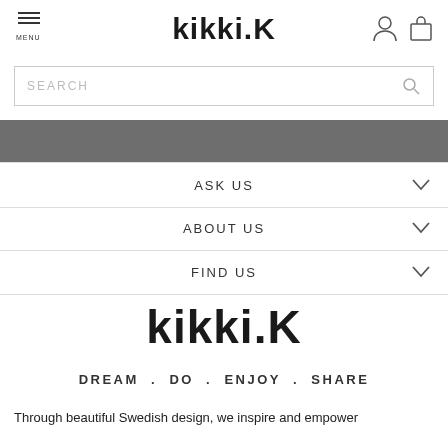kikki.K
SEARCH
[Figure (other): Gray navigation banner bar]
ASK US
ABOUT US
FIND US
kikki.K
DREAM . DO . ENJOY . SHARE
Through beautiful Swedish design, we inspire and empower